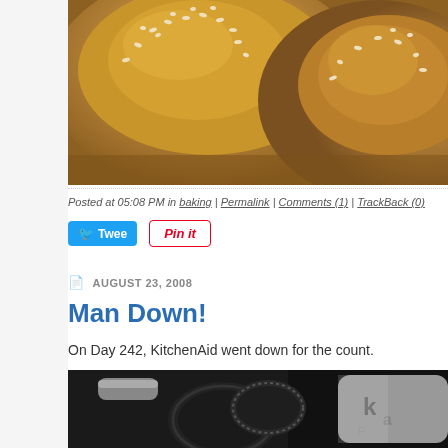[Figure (photo): Close-up photo of sesame seed bread rolls with golden-brown crust]
Posted at 05:08 PM in baking | Permalink | Comments (1) | TrackBack (0)
[Figure (other): Tweet button and Pin it button social share buttons]
AUGUST 23, 2008
Man Down!
On Day 242, KitchenAid went down for the count.
[Figure (photo): Close-up photo of dark mechanical KitchenAid mixer parts with gear visible]